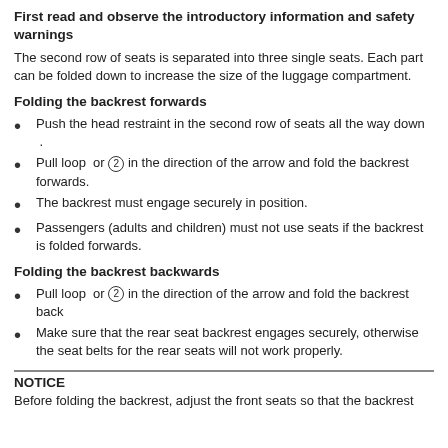First read and observe the introductory information and safety warnings
The second row of seats is separated into three single seats. Each part can be folded down to increase the size of the luggage compartment.
Folding the backrest forwards
Push the head restraint in the second row of seats all the way down .
Pull loop  or ② in the direction of the arrow and fold the backrest forwards.
The backrest must engage securely in position.
Passengers (adults and children) must not use seats if the backrest is folded forwards.
Folding the backrest backwards
Pull loop  or ② in the direction of the arrow and fold the backrest back
Make sure that the rear seat backrest engages securely, otherwise the seat belts for the rear seats will not work properly.
NOTICE
Before folding the backrest, adjust the front seats so that the backrest...